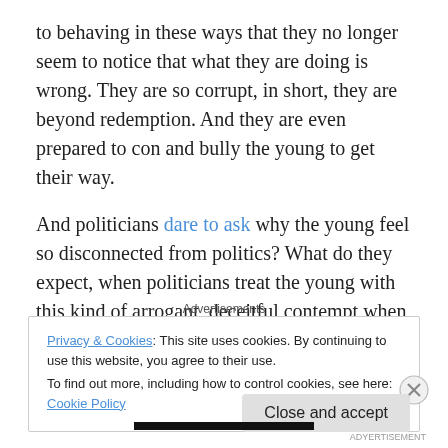to behaving in these ways that they no longer seem to notice that what they are doing is wrong. They are so corrupt, in short, they are beyond redemption. And they are even prepared to con and bully the young to get their way.
And politicians dare to ask why the young feel so disconnected from politics? What do they expect, when politicians treat the young with this kind of arrogant, deceitful contempt when they do try to get involved?
Advertisements
Privacy & Cookies: This site uses cookies. By continuing to use this website, you agree to their use. To find out more, including how to control cookies, see here: Cookie Policy
Close and accept